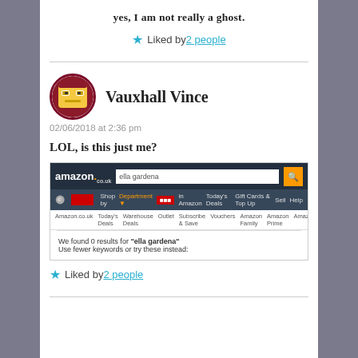yes, I am not really a ghost.
★ Liked by 2 people
Vauxhall Vince
02/06/2018 at 2:36 pm
LOL, is this just me?
[Figure (screenshot): Amazon.co.uk search result page showing 0 results for 'ella gardena' with message 'We found 0 results for ella gardena. Use fewer keywords or try these instead.']
★ Liked by 2 people